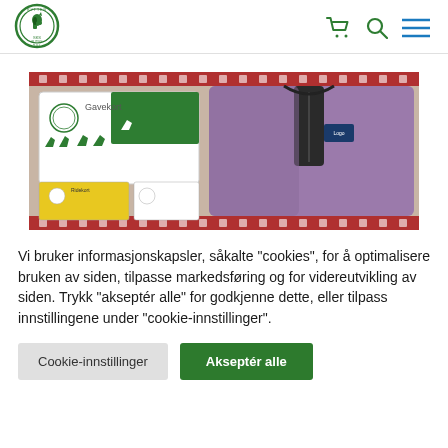[Figure (logo): Circular green logo with horse head silhouette]
[Figure (photo): Product photo showing gift cards with green horse motifs and a purple fleece jacket on a patterned background]
Vi bruker informasjonskapsler, såkalte "cookies", for å optimalisere bruken av siden, tilpasse markedsføring og for videreutvikling av siden. Trykk "akseptér alle" for godkjenne dette, eller tilpass innstillingene under "cookie-innstillinger".
Cookie-innstillinger
Akseptér alle